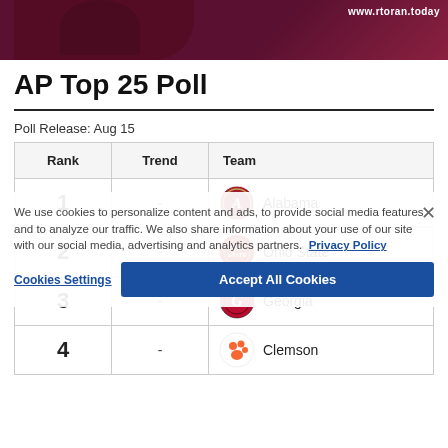[Figure (photo): Cropped banner image with dark/pink hue showing a person, with URL text 'www.rtoran.today' in top right]
AP Top 25 Poll
Poll Release: Aug 15
| Rank | Trend | Team |
| --- | --- | --- |
| 1 | - | Alabama |
| 2 | - | Ohio State |
| 3 | - | Georgia |
| 4 | - | Clemson |
We use cookies to personalize content and ads, to provide social media features and to analyze our traffic. We also share information about your use of our site with our social media, advertising and analytics partners. Privacy Policy
Cookies Settings   Accept All Cookies